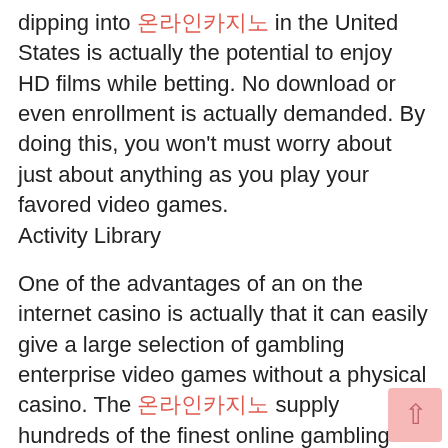dipping into 온라인카지노 in the United States is actually the potential to enjoy HD films while betting. No download or even enrollment is actually demanded. By doing this, you won't must worry about just about anything as you play your favored video games.
Activity Library
One of the advantages of an on the internet casino is actually that it can easily give a large selection of gambling enterprise video games without a physical casino. The 온라인카지노 supply hundreds of the finest online gambling enterprise activities, betting headlines regarding the newest games, and also various other gambling enterprise video games with sophisticated technology and also distinct